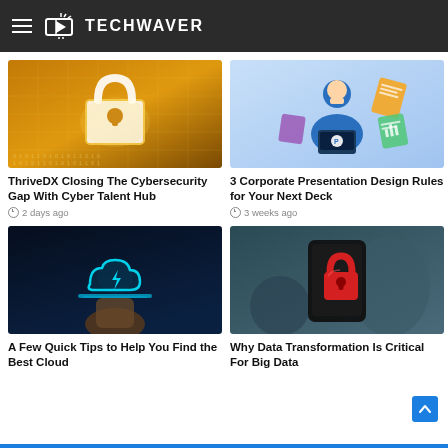TECHWAVER
[Figure (photo): Cybersecurity lock on circuit board with binary code, golden tones]
ThriveDX Closing The Cybersecurity Gap With Cyber Talent Hub
2 days ago
[Figure (illustration): Person with Python logo laptop, colorful documents floating around, blue background]
3 Corporate Presentation Design Rules for Your Next Deck
3 weeks ago
[Figure (photo): Glowing cloud icon with lightning bolt on hand, dark blue background]
A Few Quick Tips to Help You Find the Best Cloud
[Figure (photo): Hand holding phone with red padlock icon on screen, security concept]
Why Data Transformation Is Critical For Big Data